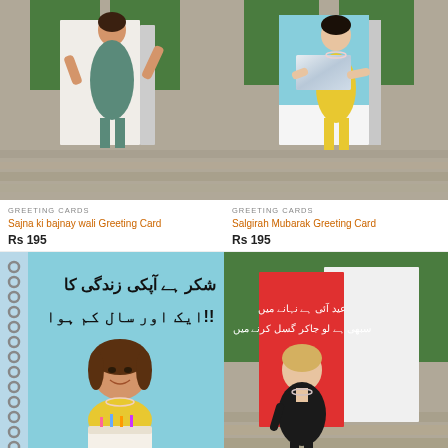[Figure (photo): Greeting card product photo: vintage-style woman in teal dress standing behind an open greeting card, on wooden background]
GREETING CARDS
Sajna ki bajnay wali Greeting Card
Rs 195
[Figure (photo): Greeting card product photo: vintage-style woman in yellow dress holding a foil greeting card, on wooden background]
GREETING CARDS
Salgirah Mubarak Greeting Card
Rs 195
[Figure (photo): Notebook product photo: light blue spiral notebook with Urdu text and illustration of a woman holding a birthday cake, branded Khabeeri Char]
[Figure (photo): Greeting card product photo: red greeting card with Urdu text and vintage-style woman in black dress, on green and wooden background]